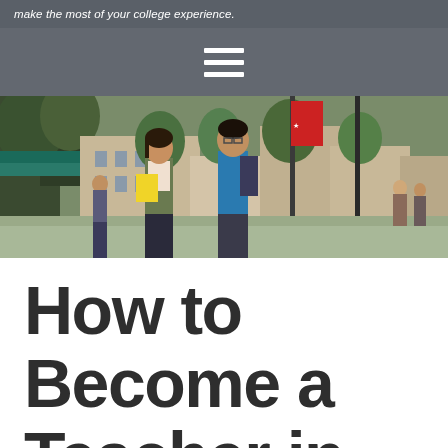make the most of your college experience.
[Figure (illustration): Navigation bar with hamburger menu icon (three white horizontal lines) on a gray background]
[Figure (photo): Outdoor campus scene showing two Asian college students walking together; a female student holding a yellow folder and a male student with a backpack, with trees and red banners in the background]
How to Become a Teacher in